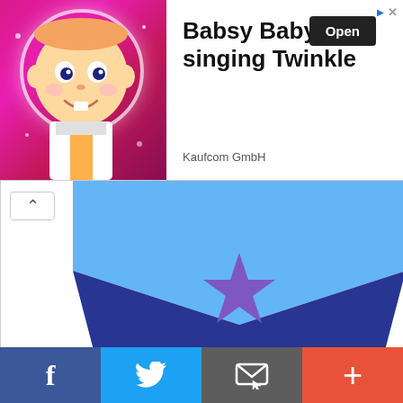[Figure (screenshot): Top advertisement banner: Babsy Baby singing Twinkle app ad with animated baby character on pink/purple background, Open button, Kaufcom GmbH label, and ad choice icons]
[Figure (illustration): Partial view of a blue/dark blue cape or wizard hat shape with a purple star in the center, with a collapse/up arrow button in top left]
[Figure (screenshot): Amazon Gift Cards advertisement showing Kindle Fire card image, text: Amazon Gift Cards, Any Occasion., No Expiration., Shop now link, and Amazon logo with orange smile]
[Figure (infographic): Bottom social sharing bar with four buttons: Facebook (blue, f icon), Twitter (light blue, bird icon), Email (gray, envelope/cursor icon), More (orange-red, plus icon)]